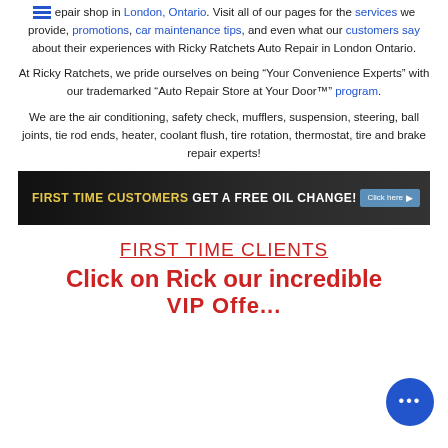Ricky Ratchets Auto Repair is a family owned, full-service auto repair shop in London, Ontario. Visit all of our pages for the services we provide, promotions, car maintenance tips, and even what our customers say about their experiences with Ricky Ratchets Auto Repair in London Ontario.
At Ricky Ratchets, we pride ourselves on being “Your Convenience Experts” with our trademarked “Auto Repair Store at Your Door™” program.
We are the air conditioning, safety check, mufflers, suspension, steering, ball joints, tie rod ends, heater, coolant flush, tire rotation, thermostat, tire and brake repair experts!
[Figure (infographic): Dark banner advertisement: 'FIRST TIME CUSTOMERS GET A FREE OIL CHANGE!' with yellow and white text on dark background, and a 'Click here' button on the right.]
FIRST TIME CLIENTS
Click on Rick our incredible VIP Offer...